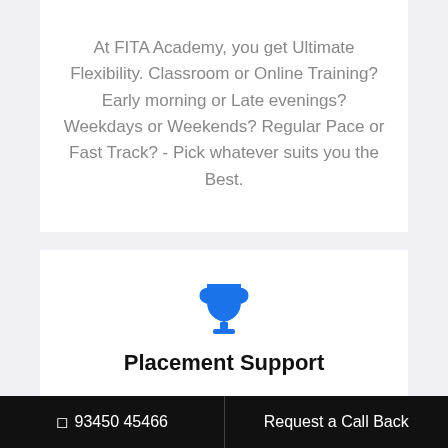At FITA Academy, you get Ultimate Flexibility. Classroom or Online Training? Early morning or Late evenings? Weekdays or Weekends? Regular Pace or Fast Track? - Pick whatever suits you the Best.
[Figure (illustration): Blue trophy icon]
Placement Support
Tie-up & MOU with more than 1500+ Small & Medium Companies to Support you with Opportunities to Kick-Start & Step-up your
93450 45466   Request a Call Back